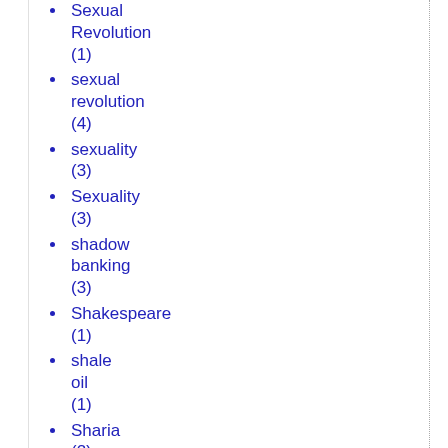Sexual Revolution (1)
sexual revolution (4)
sexuality (3)
Sexuality (3)
shadow banking (3)
Shakespeare (1)
shale oil (1)
Sharia (2)
sharia (36)
Sharia Law (1)